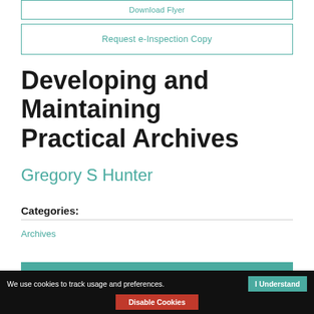Download Flyer
Request e-Inspection Copy
Developing and Maintaining Practical Archives
Gregory S Hunter
Categories:
Archives
Buy this book
We use cookies to track usage and preferences.  I Understand  Disable Cookies